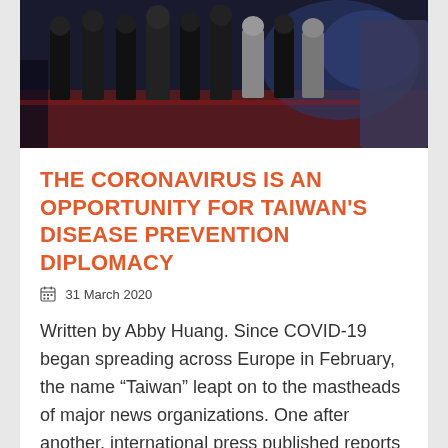[Figure (photo): Group of people in formal dark clothing standing on a stage or platform, likely at an official event, with a blurred background.]
THE CORONAVIRUS IS AN OPPORTUNITY FOR TAIWAN'S DISEASE PREVENTION DIPLOMACY
31 March 2020
Written by Abby Huang. Since COVID-19 began spreading across Europe in February, the name “Taiwan” leapt on to the mastheads of major news organizations. One after another, international press published reports on Taiwan’s disease prevention measures and compared them with those of their own